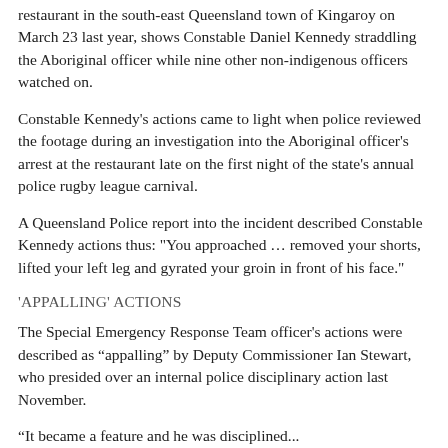restaurant in the south-east Queensland town of Kingaroy on March 23 last year, shows Constable Daniel Kennedy straddling the Aboriginal officer while nine other non-indigenous officers watched on.
Constable Kennedy's actions came to light when police reviewed the footage during an investigation into the Aboriginal officer's arrest at the restaurant late on the first night of the state's annual police rugby league carnival.
A Queensland Police report into the incident described Constable Kennedy actions thus: "You approached … removed your shorts, lifted your left leg and gyrated your groin in front of his face."
'APPALLING' ACTIONS
The Special Emergency Response Team officer's actions were described as “appalling” by Deputy Commissioner Ian Stewart, who presided over an internal police disciplinary action last November.
"It became a feature and he was disciplined...